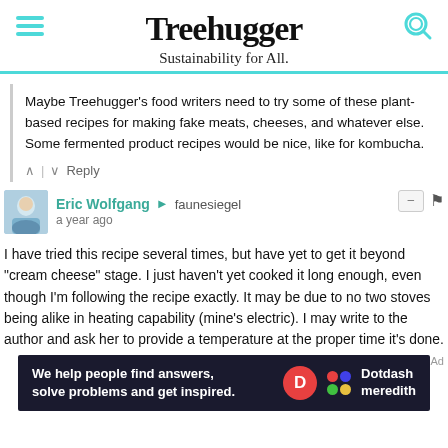Treehugger — Sustainability for All.
Maybe Treehugger's food writers need to try some of these plant-based recipes for making fake meats, cheeses, and whatever else. Some fermented product recipes would be nice, like for kombucha.
Eric Wolfgang → faunesiegel  a year ago
I have tried this recipe several times, but have yet to get it beyond "cream cheese" stage. I just haven't yet cooked it long enough, even though I'm following the recipe exactly. It may be due to no two stoves being alike in heating capability (mine's electric). I may write to the author and ask her to provide a temperature at the proper time it's done.
[Figure (screenshot): Dotdash Meredith advertisement banner: 'We help people find answers, solve problems and get inspired.']